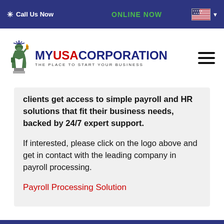Call Us Now  |  ONLINE NOW
[Figure (logo): My USA Corporation logo with Statue of Liberty icon and tagline THE PLACE TO START YOUR BUSINESS]
clients get access to simple payroll and HR solutions that fit their business needs, backed by 24/7 expert support.
If interested, please click on the logo above and get in contact with the leading company in payroll processing.
Payroll Processing Solution